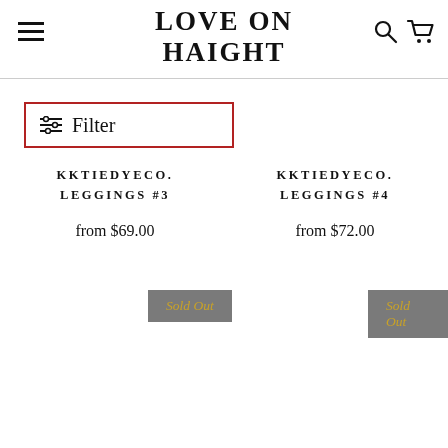LOVE ON HAIGHT
[Figure (screenshot): Filter button with icon and red border outline]
KKTIEDYECO. LEGGINGS #3
from $69.00
Sold Out
KKTIEDYECO. LEGGINGS #4
from $72.00
Sold Out